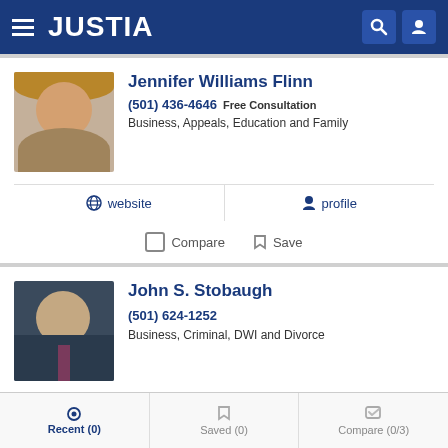JUSTIA
Jennifer Williams Flinn
(501) 436-4646  Free Consultation
Business, Appeals, Education and Family
website  |  profile
Compare  |  Save
John S. Stobaugh
(501) 624-1252
Business, Criminal, DWI and Divorce
website  |  profile  |  email
Recent (0)  |  Saved (0)  |  Compare (0/3)